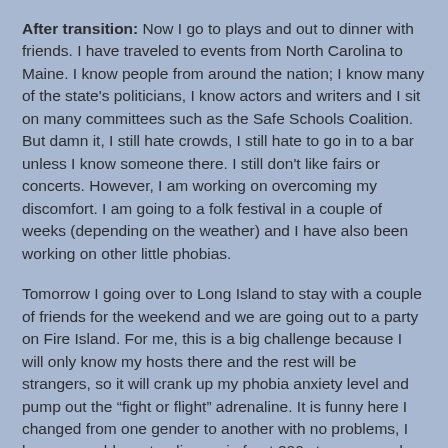After transition: Now I go to plays and out to dinner with friends. I have traveled to events from North Carolina to Maine. I know people from around the nation; I know many of the state's politicians, I know actors and writers and I sit on many committees such as the Safe Schools Coalition. But damn it, I still hate crowds, I still hate to go in to a bar unless I know someone there. I still don't like fairs or concerts. However, I am working on overcoming my discomfort. I am going to a folk festival in a couple of weeks (depending on the weather) and I have also been working on other little phobias.
Tomorrow I going over to Long Island to stay with a couple of friends for the weekend and we are going out to a party on Fire Island. For me, this is a big challenge because I will only know my hosts there and the rest will be strangers, so it will crank up my phobia anxiety level and pump out the "fight or flight" adrenaline. It is funny here I changed from one gender to another with no problems, I have no problem standing up in front 200 strangers and talking about discrimination or about myself, but put me in a party setting and I become the